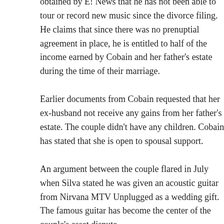according to the report. He states in the documents obtained by E! News that he has not been able to tour or record new music since the divorce filing. He claims that since there was no prenuptial agreement in place, he is entitled to half of the income earned by Cobain and her father's estate during the time of their marriage.
Earlier documents from Cobain requested that her ex-husband not receive any gains from her father's estate. The couple didn't have any children. Cobain has stated that she is open to spousal support.
An argument between the couple flared in July when Silva stated he was given an acoustic guitar from Nirvana MTV Unplugged as a wedding gift. The famous guitar has become the center of the couple's asset dispute.